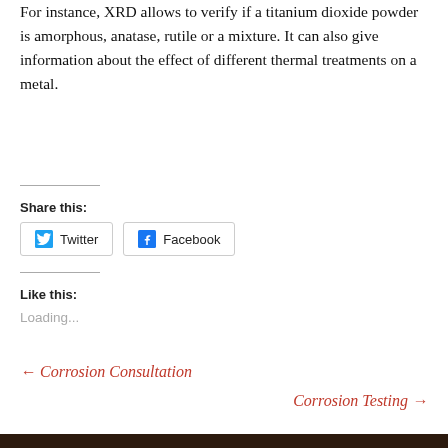For instance, XRD allows to verify if a titanium dioxide powder is amorphous, anatase, rutile or a mixture. It can also give information about the effect of different thermal treatments on a metal.
Share this:
[Figure (other): Twitter and Facebook share buttons]
Like this:
Loading...
← Corrosion Consultation
Corrosion Testing →